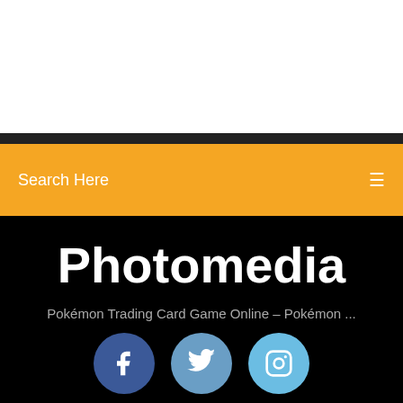[Figure (screenshot): White blank area at top of page]
Search Here
Photomedia
Pokémon Trading Card Game Online – Pokémon ...
[Figure (infographic): Three social media icon circles: Facebook (dark blue), Twitter (medium blue), Instagram (light blue)]